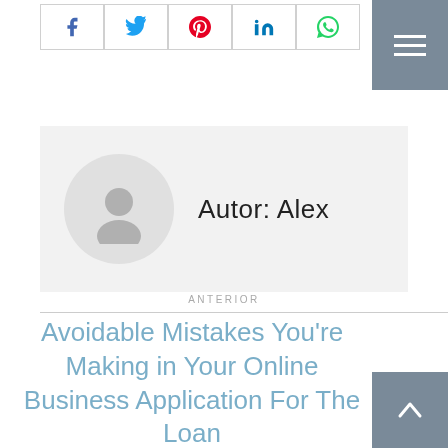[Figure (other): Social share buttons row: Facebook (blue), Twitter (blue), Pinterest (red), LinkedIn (blue), WhatsApp (green), each in a bordered square box]
[Figure (other): Hamburger menu button (three white horizontal lines) on a grey-blue square background, top right corner]
[Figure (other): Author bio box with grey circle avatar (person silhouette) on light grey background with text 'Autor: Alex']
ANTERIOR
Avoidable Mistakes You're Making in Your Online Business Application For The Loan
[Figure (other): Back to top button (upward arrow) on grey-blue square background, bottom right corner]